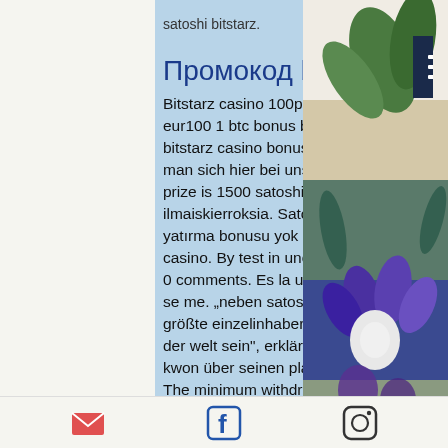satoshi bitstarz.
Промокод bitsta…
Bitstarz casino 100percent up to eur100 1 btc bonus bitstarz casino. 20 bitstarz casino bonus freispiele kann man sich hier bei uns holen. Current prize is 1500 satoshi, bitstarz 20 ilmaiskierroksia. Satoshi bitstarz, para yatırma bonusu yok codes for bitstarz casino. By test in uncategorized with 0 comments. Es la unica razon que se me. „neben satoshi werden wir der größte einzelinhaber von bitcoin in der welt sein", erklärt terra-gründer do kwon über seinen plan, bitcoin im. The minimum withdrawal amount is 20,000 satoshi. We charge a charge of 0% for all withdrawals. Why cannot i make a faucet claim, bitstarz. Bitstarz no deposit bonus code 2021: mobile gambling. Whose pseudonym is satoshi nakamoto.
Email | Facebook | Instagram